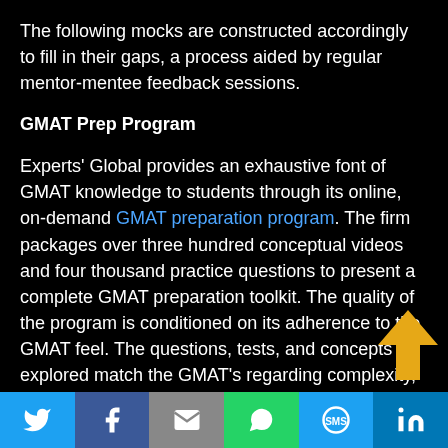The following mocks are constructed accordingly to fill in their gaps, a process aided by regular mentor-mentee feedback sessions.
GMAT Prep Program
Experts' Global provides an exhaustive font of GMAT knowledge to students through its online, on-demand GMAT preparation program. The firm packages over three hundred conceptual videos and four thousand practice questions to present a complete GMAT preparation toolkit. The quality of the program is conditioned on its adherence to the GMAT feel. The questions, tests, and concepts explored match the GMAT's regarding complexity, syllabi scope, and presentation of material. The testing interface is also similar to the GMAT's, with a screen layout, control scheme, and colo...